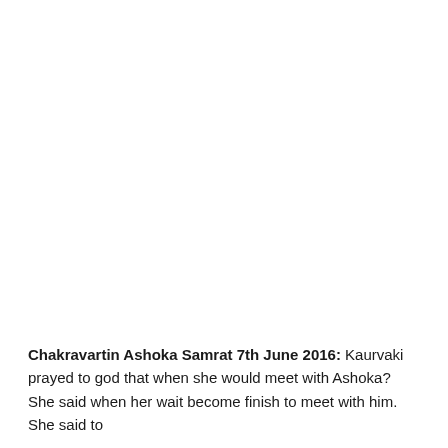Chakravartin Ashoka Samrat 7th June 2016: Kaurvaki prayed to god that when she would meet with Ashoka? She said when her wait become finish to meet with him. She said to